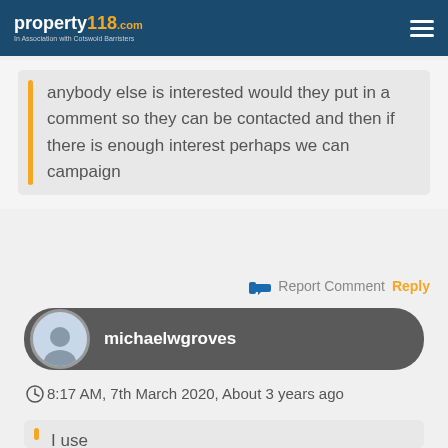property118.com — In Association with Cotswold Barristers
anybody else is interested would they put in a comment so they can be contacted and then if there is enough interest perhaps we can campaign
Report Comment Reply
michaelwgroves
8:17 AM, 7th March 2020, About 3 years ago
I use